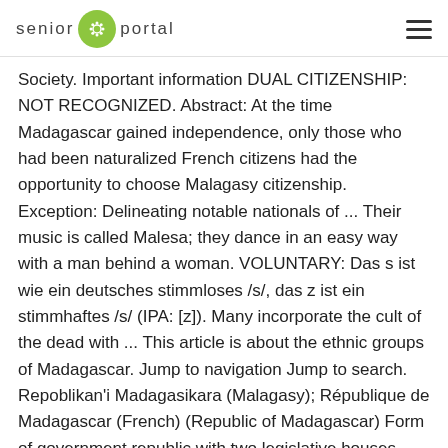senior portal
Society. Important information DUAL CITIZENSHIP: NOT RECOGNIZED. Abstract: At the time Madagascar gained independence, only those who had been naturalized French citizens had the opportunity to choose Malagasy citizenship. Exception: Delineating notable nationals of ... Their music is called Malesa; they dance in an easy way with a man behind a woman. VOLUNTARY: Das s ist wie ein deutsches stimmloses /s/, das z ist ein stimmhaftes /s/ (IPA: [z]). Many incorporate the cult of the dead with ... This article is about the ethnic groups of Madagascar. Jump to navigation Jump to search. Repoblikan'i Madagasikara (Malagasy); République de Madagascar (French) (Republic of Madagascar) Form of government republic with two legislative houses (National Assembly [151] and Senate [63 1]) 2 Head of state President: Andry Rajoelina Head of government Prime Minister: